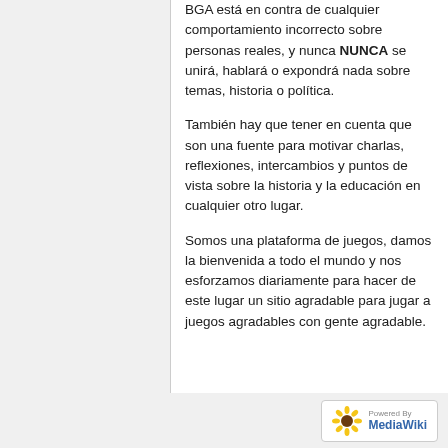BGA está en contra de cualquier comportamiento incorrecto sobre personas reales, y nunca NUNCA se unirá, hablará o expondrá nada sobre temas, historia o política.
También hay que tener en cuenta que son una fuente para motivar charlas, reflexiones, intercambios y puntos de vista sobre la historia y la educación en cualquier otro lugar.
Somos una plataforma de juegos, damos la bienvenida a todo el mundo y nos esforzamos diariamente para hacer de este lugar un sitio agradable para jugar a juegos agradables con gente agradable.
[Figure (logo): Powered by MediaWiki badge with sunflower logo]